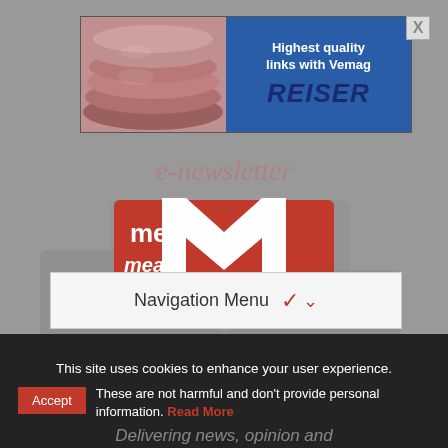[Figure (photo): Advertisement banner for Reiser with sausage image on left and blue right panel showing 'Highest quality links with Vemag' and REISER brand name]
e-newsletter
[Figure (logo): Meat Management .com logo with large red M and 'meat' text, below reads 'management.com' in dark text with .com in red]
Navigation Menu ∨
This site uses cookies to enhance your user experience.
Accept  These are not harmful and don't provide personal information. Read More
Delivering news, opinion and